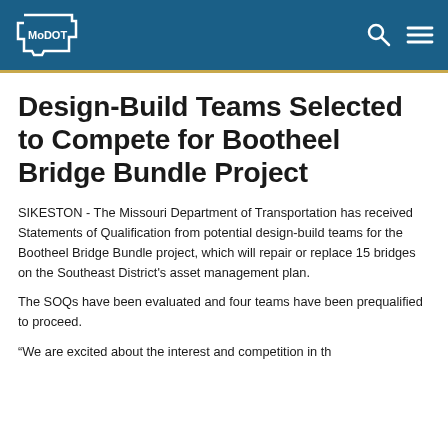MoDOT
Design-Build Teams Selected to Compete for Bootheel Bridge Bundle Project
SIKESTON - The Missouri Department of Transportation has received Statements of Qualification from potential design-build teams for the Bootheel Bridge Bundle project, which will repair or replace 15 bridges on the Southeast District's asset management plan.
The SOQs have been evaluated and four teams have been prequalified to proceed.
“We are excited about the interest and...